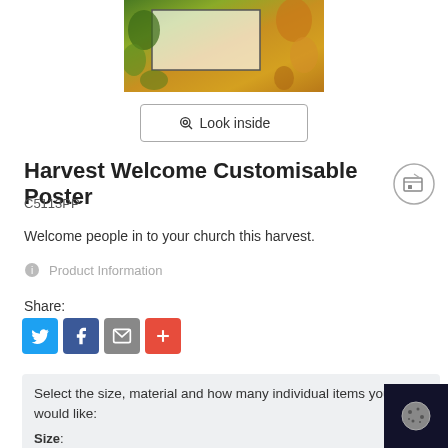[Figure (photo): Product image of Harvest Welcome Customisable Poster with autumn/harvest colored background and white overlay rectangle]
Look inside
Harvest Welcome Customisable Poster
C5113PP
Welcome people in to your church this harvest.
Product Information
Share:
[Figure (infographic): Social share icons: Twitter (blue), Facebook (dark blue), Email (grey), More (red)]
Select the size, material and how many individual items you would like:
Size:
Size